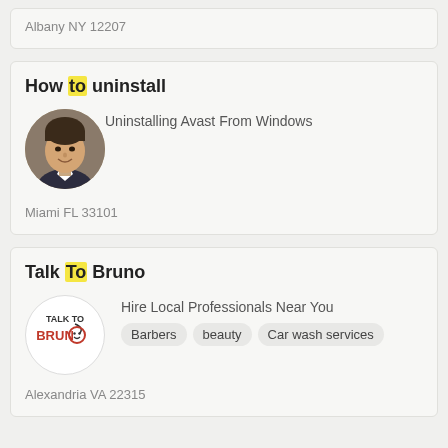Albany NY 12207
How to uninstall
[Figure (photo): Circular avatar photo of a smiling man in a suit]
Uninstalling Avast From Windows
Miami FL 33101
Talk To Bruno
[Figure (logo): Talk To Bruno logo — circular white background with red BRNO text and smiley face]
Hire Local Professionals Near You
Barbers   beauty   Car wash services
Alexandria VA 22315